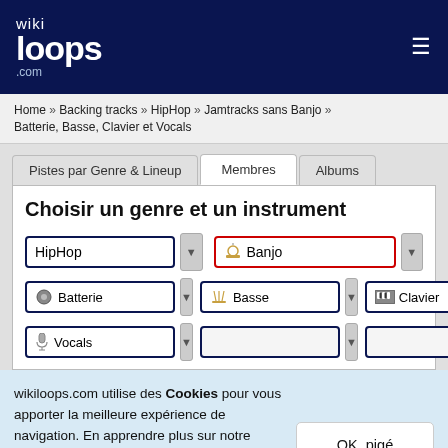[Figure (logo): wikiloops.com logo in white on dark navy header, hamburger menu icon on right]
Home » Backing tracks » HipHop » Jamtracks sans Banjo » Batterie, Basse, Clavier et Vocals
Pistes par Genre & Lineup | Membres | Albums (tabs)
Choisir un genre et un instrument
HipHop [dropdown] | Banjo [dropdown] | Batterie [dropdown] | Basse [dropdown] | Clavier [dropdown] | Vocals [dropdown]
wikiloops.com utilise des Cookies pour vous apporter la meilleure expérience de navigation. En apprendre plus sur notre charte des données privées . OK, pigé